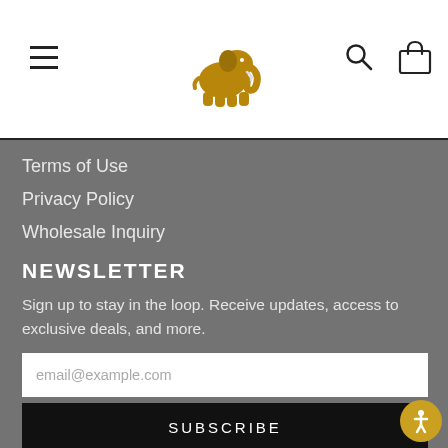[Header with hamburger menu, elephant logo, search and cart icons]
Terms of Use
Privacy Policy
Wholesale Inquiry
NEWSLETTER
Sign up to stay in the loop. Receive updates, access to exclusive deals, and more.
email@example.com
SUBSCRIBE